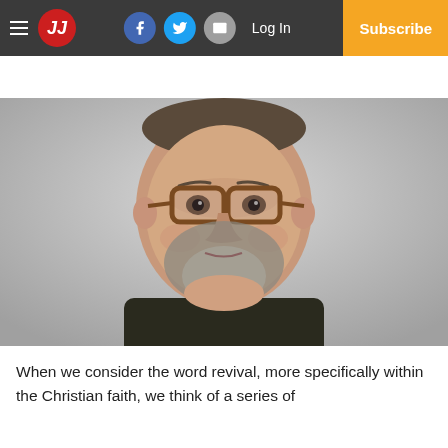JJ | Log In | Subscribe
[Figure (photo): Headshot of a middle-aged man with glasses, short gray beard, wearing a dark polo shirt, against a light gray background]
When we consider the word revival, more specifically within the Christian faith, we think of a series of